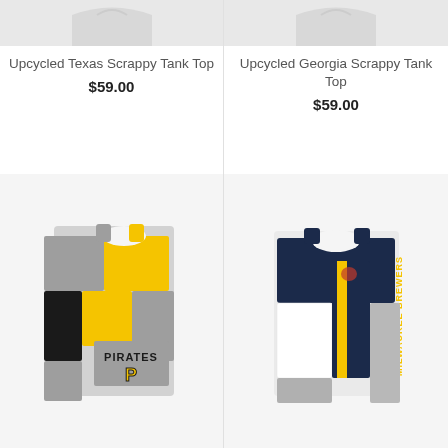[Figure (photo): Top portion of Upcycled Texas Scrappy Tank Top product image (cropped, light background)]
[Figure (photo): Top portion of Upcycled Georgia Scrappy Tank Top product image (cropped, light background)]
Upcycled Texas Scrappy Tank Top
$59.00
Upcycled Georgia Scrappy Tank Top
$59.00
[Figure (photo): Upcycled Pittsburgh Pirates Scrappy Tank Top made from patchwork of yellow, black, and gray fabric with Pirates logo]
[Figure (photo): Upcycled Milwaukee Brewers Scrappy Tank Top made from patchwork of navy, white, and gray fabric with Brewers logo]